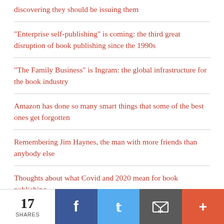discovering they should be issuing them
“Enterprise self-publishing” is coming: the third great disruption of book publishing since the 1990s
“The Family Business” is Ingram: the global infrastructure for the book industry
Amazon has done so many smart things that some of the best ones get forgotten
Remembering Jim Haynes, the man with more friends than anybody else
Thoughts about what Covid and 2020 mean for book publishing
17 SHARES | Facebook | Twitter | Email | More